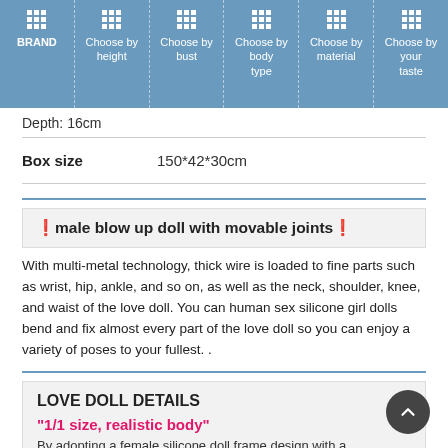BRAND | Choose by height | Choose by bust | Choose by body type | Choose by material | Choose by your taste
Depth: 16cm
| Box size |  |
| --- | --- |
| Box size | 150*42*30cm |
male blow up doll with movable joints
With multi-metal technology, thick wire is loaded to fine parts such as wrist, hip, ankle, and so on, as well as the neck, shoulder, knee, and waist of the love doll. You can human sex silicone girl dolls bend and fix almost every part of the love doll so you can enjoy a variety of poses to your fullest. .
LOVE DOLL DETAILS
"1/1 size, realistic body"
By adopting a female silicone doll frame design with a